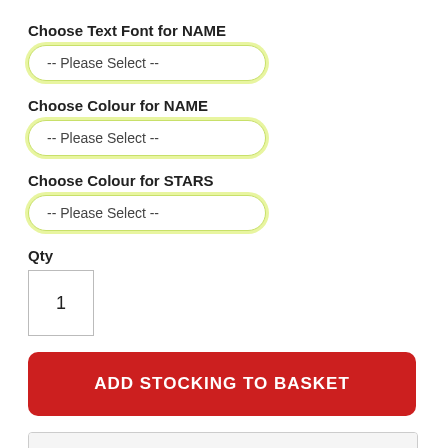Choose Text Font for NAME
-- Please Select --
Choose Colour for NAME
-- Please Select --
Choose Colour for STARS
-- Please Select --
Qty
1
ADD STOCKING TO BASKET
Details